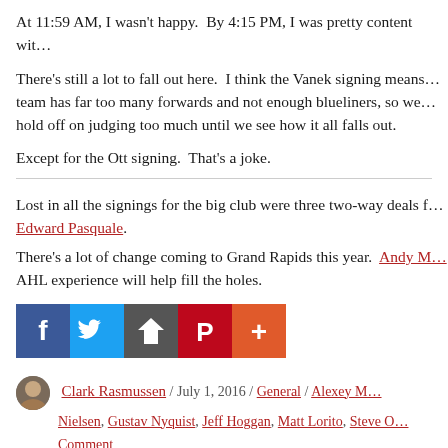At 11:59 AM, I wasn't happy.  By 4:15 PM, I was pretty content wit...
There's still a lot to fall out here.  I think the Vanek signing means... team has far too many forwards and not enough blueliners, so we... hold off on judging too much until we see how it all falls out.
Except for the Ott signing.  That's a joke.
Lost in all the signings for the big club were three two-way deals f... Edward Pasquale.
There's a lot of change coming to Grand Rapids this year.  Andy M... AHL experience will help fill the holes.
[Figure (infographic): Social sharing buttons row: Facebook (blue), Twitter (blue), Email/share (dark gray), Pinterest (red), More/plus (orange-red)]
Clark Rasmussen / July 1, 2016 / General / Alexey M... Nielsen, Gustav Nyquist, Jeff Hoggan, Matt Lorito, Steve O... Comment